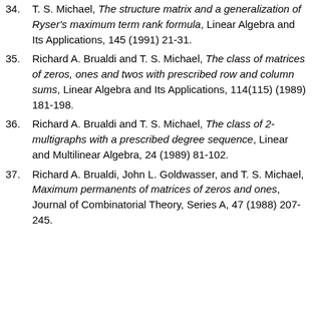34. T. S. Michael, The structure matrix and a generalization of Ryser's maximum term rank formula, Linear Algebra and Its Applications, 145 (1991) 21-31.
35. Richard A. Brualdi and T. S. Michael, The class of matrices of zeros, ones and twos with prescribed row and column sums, Linear Algebra and Its Applications, 114(115) (1989) 181-198.
36. Richard A. Brualdi and T. S. Michael, The class of 2-multigraphs with a prescribed degree sequence, Linear and Multilinear Algebra, 24 (1989) 81-102.
37. Richard A. Brualdi, John L. Goldwasser, and T. S. Michael, Maximum permanents of matrices of zeros and ones, Journal of Combinatorial Theory, Series A, 47 (1988) 207-245.